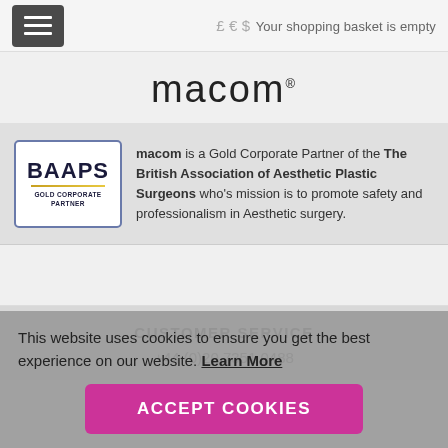£ € $  Your shopping basket is empty
[Figure (logo): macom® brand logo in large light-weight font]
[Figure (logo): BAAPS Gold Corporate Partner badge]
macom is a Gold Corporate Partner of the The British Association of Aesthetic Plastic Surgeons who's mission is to promote safety and professionalism in Aesthetic surgery.
CUSTOMER SERVICE
+44 (0)20 7351 0488
This website uses cookies to ensure you get the best experience on our website. Learn More
ACCEPT COOKIES